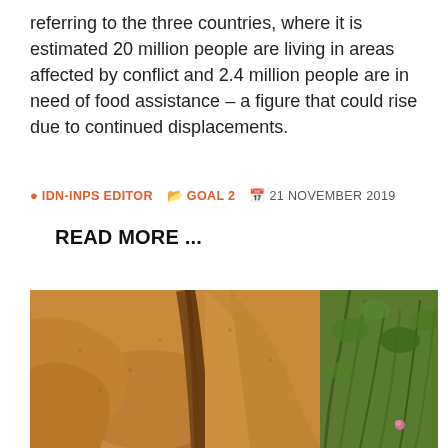referring to the three countries, where it is estimated 20 million people are living in areas affected by conflict and 2.4 million people are in need of food assistance – a figure that could rise due to continued displacements.
IDN-INPS EDITOR   GOAL 2   21 NOVEMBER 2019
READ MORE ...
[Figure (photo): A photograph of eroded sandy terrain showing deep gullies or channels cut into dry, orangish-brown sandy soil, with green vegetation visible on the right side of the image.]